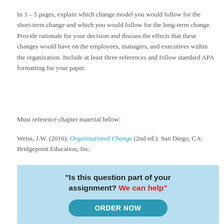In 3 – 5 pages, explain which change model you would follow for the short-term change and which you would follow for the long-term change.  Provide rationale for your decision and discuss the effects that these changes would have on the employees, managers, and executives within the organization.  Include at least three references and follow standard APA formatting for your paper.
Must reference chapter material below:
Weiss, J.W. (2016). Organizational Change (2nd ed.). San Diego, CA: Bridgepoint Education, Inc.
[Figure (infographic): Light blue banner with bold text: "Is this question part of your assignment? We can help" and a teal ORDER NOW button]